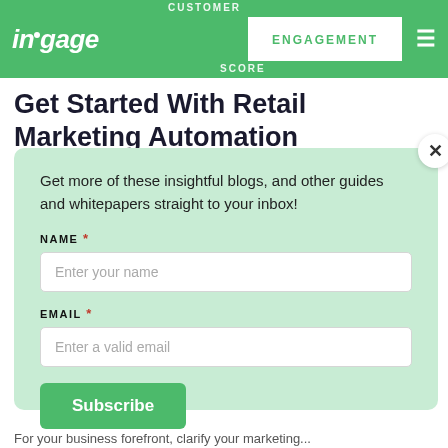[Figure (logo): Ingage logo in white italic text on green navigation bar]
CUSTOMER ENGAGEMENT SCORE
Get Started With Retail Marketing Automation
Get more of these insightful blogs, and other guides and whitepapers straight to your inbox!
NAME *
Enter your name
EMAIL *
Enter a valid email
Subscribe
No spam ever. You can unsubscribe at any time.
For your business forefront, clarify your marketing...